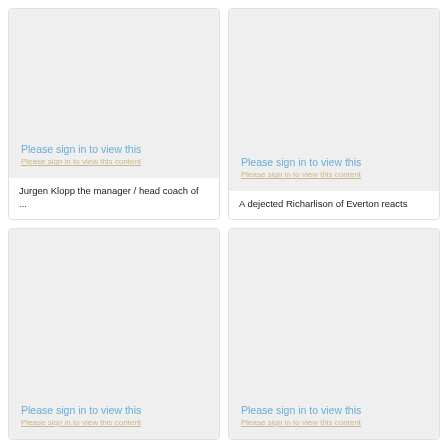[Figure (photo): Placeholder image with 'Please sign in to view this' message - Jurgen Klopp photo]
Jurgen Klopp the manager / head coach of ...
[Figure (photo): Placeholder image with 'Please sign in to view this' message - Richarlison photo]
A dejected Richarlison of Everton reacts
[Figure (photo): Placeholder image with 'Please sign in to view this' message - bottom left]
[Figure (photo): Placeholder image with 'Please sign in to view this' message - bottom right]